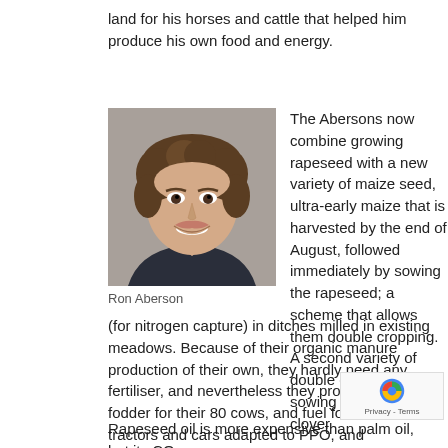land for his horses and cattle that helped him produce his own food and energy.
[Figure (photo): Portrait photo of Ron Aberson, a man with curly brown hair, smiling, wearing a dark jacket.]
Ron Aberson
The Abersons now combine growing rapeseed with a new variety of maize seed, ultra-early maize that is harvested by the end of August, followed immediately by sowing the rapeseed; a scheme that allows them double cropping. A second variety of double cropping is sowing rapeseed and clover (for nitrogen capture) in ditches milled in existing meadows. Because of their organic manure production of their own, they hardly need any fertiliser, and nevertheless they produce enough fodder for their 80 cows, and fuel for their tractors and cars adapted to PPO, and combined heat and power production. The Abersons see many more opportunities for valorisation of their rapeseed, like separation of proteins – just like in the case of grass.
Rapeseed oil is more expensive than palm oil, but its CO2